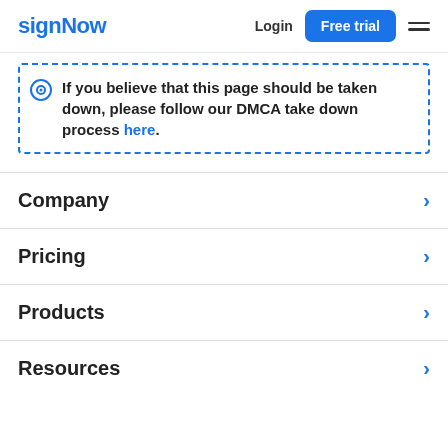signNow — Login — Free trial
If you believe that this page should be taken down, please follow our DMCA take down process here.
Company
Pricing
Products
Resources